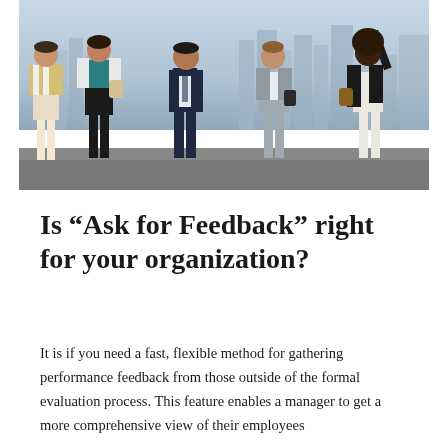[Figure (photo): Group photo of four business professionals standing together outdoors in front of a city skyline. From left: a woman in white jacket with yellow/white stripes, a woman in teal dress with black skirt, a man in dark navy suit, a woman in grey blazer and grey pants, and a woman in white dress with black jacket raising her hand. They appear to be celebrating or posing confidently.]
Is “Ask for Feedback” right for your organization?
It is if you need a fast, flexible method for gathering performance feedback from those outside of the formal evaluation process. This feature enables a manager to get a more comprehensive view of their employees